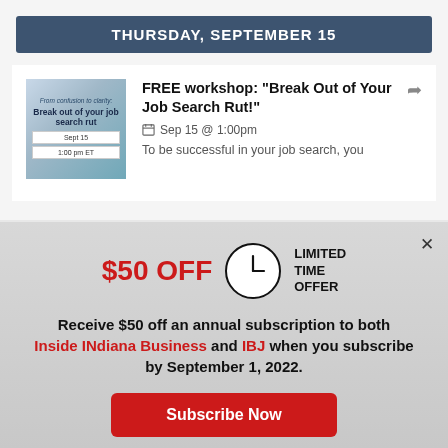THURSDAY, SEPTEMBER 15
FREE workshop: "Break Out of Your Job Search Rut!"
Sep 15 @ 1:00pm
To be successful in your job search, you
[Figure (infographic): Modal overlay with $50 OFF limited time offer for Inside INdiana Business and IBJ subscription]
$50 OFF LIMITED TIME OFFER
Receive $50 off an annual subscription to both Inside INdiana Business and IBJ when you subscribe by September 1, 2022.
Subscribe Now
Already a paid subscriber?
Log In